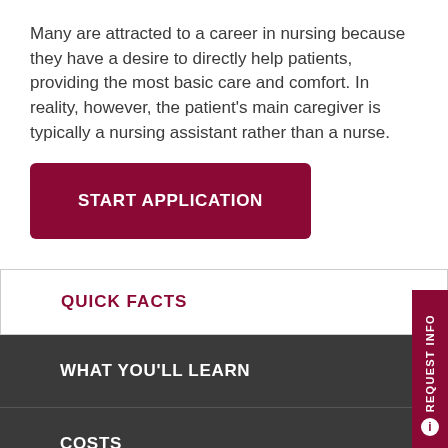Many are attracted to a career in nursing because they have a desire to directly help patients, providing the most basic care and comfort. In reality, however, the patient's main caregiver is typically a nursing assistant rather than a nurse.
START APPLICATION
QUICK FACTS
WHAT YOU'LL LEARN
COSTS
COURSES
REQUEST INFO